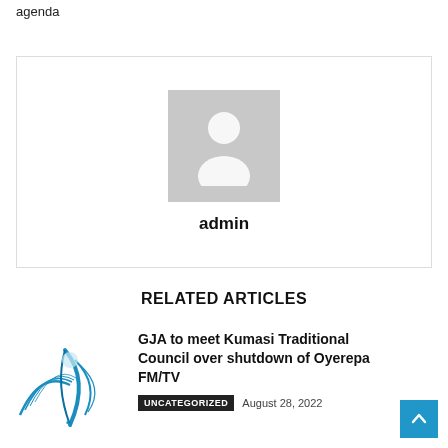agenda
[Figure (illustration): Author avatar placeholder with generic person silhouette icon in grey, below which the name 'admin' appears in bold]
admin
RELATED ARTICLES
[Figure (logo): GJA logo with stylized pen/quill and wings graphic in blue]
GJA to meet Kumasi Traditional Council over shutdown of Oyerepa FM/TV
UNCATEGORIZED   August 28, 2022